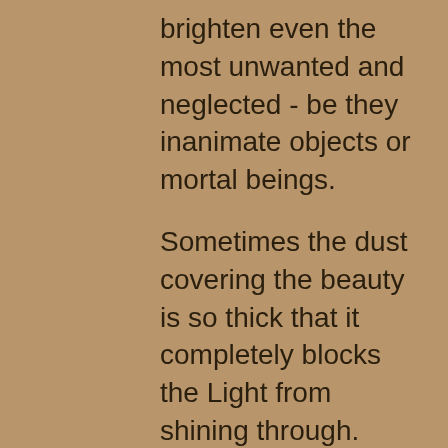brighten even the most unwanted and neglected - be they inanimate objects or mortal beings.
Sometimes the dust covering the beauty is so thick that it completely blocks the Light from shining through. Such is the case with the children who have suffered unspeakable abuse and neglect for extended periods of time. It's hard to see the Light in their eyes. What excites me is the beauty we would discover if we could collectively work to gently and carefully wash away the layers of darkness that are covering the Light of these innocent souls. Hoi An would be no match to the glitter and joy created by so many "little